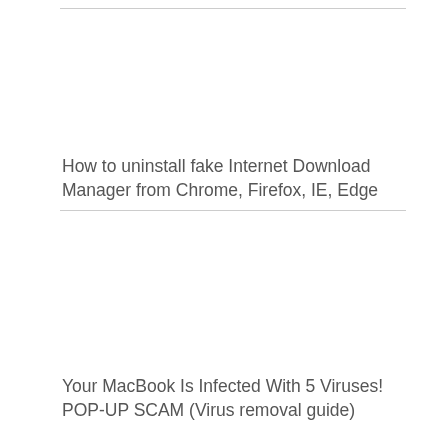How to uninstall fake Internet Download Manager from Chrome, Firefox, IE, Edge
Your MacBook Is Infected With 5 Viruses! POP-UP SCAM (Virus removal guide)